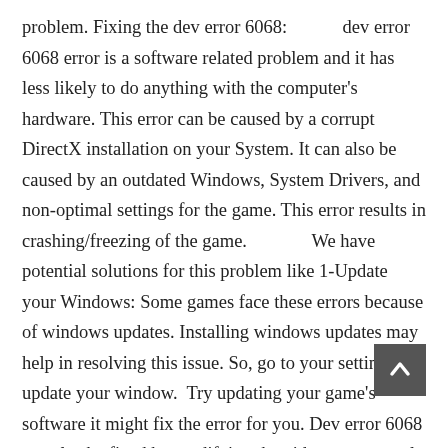problem. Fixing the dev error 6068:            dev error 6068 error is a software related problem and it has less likely to do anything with the computer's hardware. This error can be caused by a corrupt DirectX installation on your System. It can also be caused by an outdated Windows, System Drivers, and non-optimal settings for the game. This error results in crashing/freezing of the game.              We have potential solutions for this problem like 1-Update your Windows: Some games face these errors because of windows updates. Installing windows updates may help in resolving this issue. So, go to your settings and update your window.  Try updating your game's software it might fix the error for you. Dev error 6068 can also be fixed by modifying the videomemoryscale option. By, modifying the videomemoryscale option we mean to change the value of videomemoryscale. You can do this by following this method: -Open up your File Explorer. -Go to